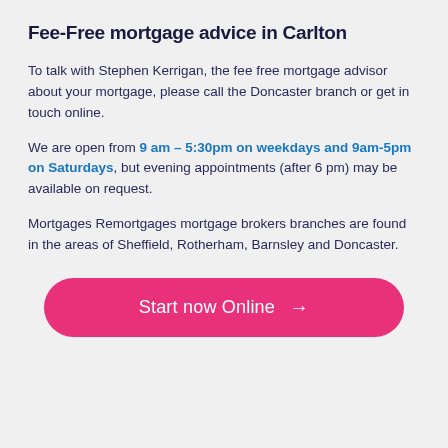Fee-Free mortgage advice in Carlton
To talk with Stephen Kerrigan, the fee free mortgage advisor about your mortgage, please call the Doncaster branch or get in touch online.
We are open from 9 am – 5:30pm on weekdays and 9am-5pm on Saturdays, but evening appointments (after 6 pm) may be available on request.
Mortgages Remortgages mortgage brokers branches are found in the areas of Sheffield, Rotherham, Barnsley and Doncaster.
[Figure (other): Pink rounded button with white text reading 'Start now Online →']